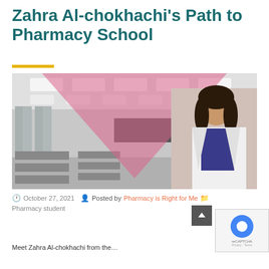Zahra Al-chokhachi's Path to Pharmacy School
[Figure (photo): Composite image: grayscale classroom background with a pink translucent triangle overlay and a photo of Zahra Al-chokhachi in a white lab coat on the right side]
October 27, 2021   Posted by Pharmacy is Right for Me   Pharmacy student
Meet Zahra Al-chokhachi from the…